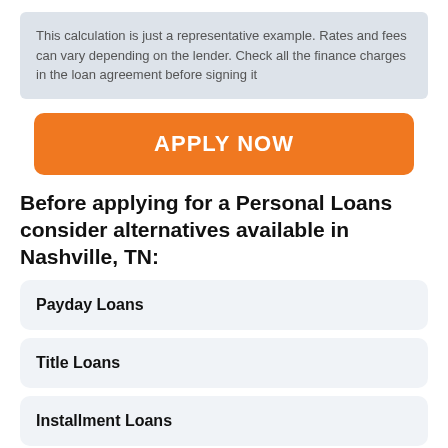This calculation is just a representative example. Rates and fees can vary depending on the lender. Check all the finance charges in the loan agreement before signing it
[Figure (other): Orange 'APPLY NOW' button]
Before applying for a Personal Loans consider alternatives available in Nashville, TN:
Payday Loans
Title Loans
Installment Loans